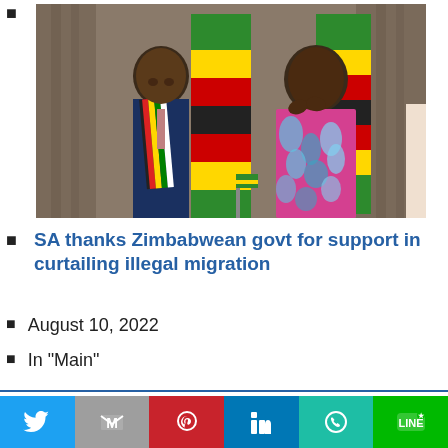[Figure (photo): Two people standing side by side in front of a Zimbabwean flag. The person on the left wears a blue suit with a colorful Zimbabwean-striped scarf. The person on the right wears a colorful patterned dress and is clapping hands.]
SA thanks Zimbabwean govt for support in curtailing illegal migration
August 10, 2022
In "Main"
This website uses cookies.
Social share buttons: Twitter, Gmail, Pinterest, LinkedIn, WhatsApp, LINE